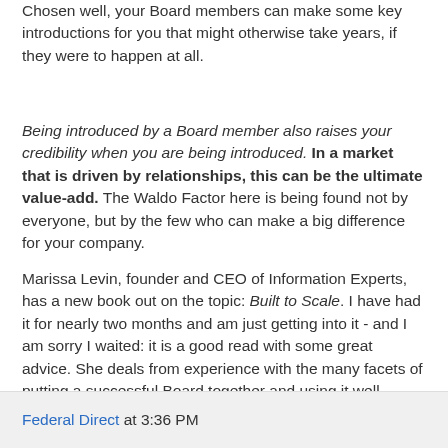Chosen well, your Board members can make some key introductions for you that might otherwise take years, if they were to happen at all.
Being introduced by a Board member also raises your credibility when you are being introduced. In a market that is driven by relationships, this can be the ultimate value-add. The Waldo Factor here is being found not by everyone, but by the few who can make a big difference for your company.
Marissa Levin, founder and CEO of Information Experts, has a new book out on the topic: Built to Scale. I have had it for nearly two months and am just getting into it - and I am sorry I waited: it is a good read with some great advice. She deals from experience with the many facets of putting a successful Board together and using it well.
Get the book, digest the book, then get aboard!
Federal Direct at 3:36 PM